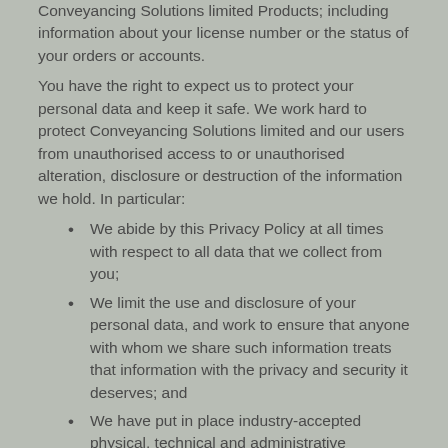Conveyancing Solutions limited Products; including information about your license number or the status of your orders or accounts.
You have the right to expect us to protect your personal data and keep it safe. We work hard to protect Conveyancing Solutions limited and our users from unauthorised access to or unauthorised alteration, disclosure or destruction of the information we hold. In particular:
We abide by this Privacy Policy at all times with respect to all data that we collect from you;
We limit the use and disclosure of your personal data, and work to ensure that anyone with whom we share such information treats that information with the privacy and security it deserves; and
We have put in place industry-accepted physical, technical and administrative practices to safeguard and secure the information we collect.